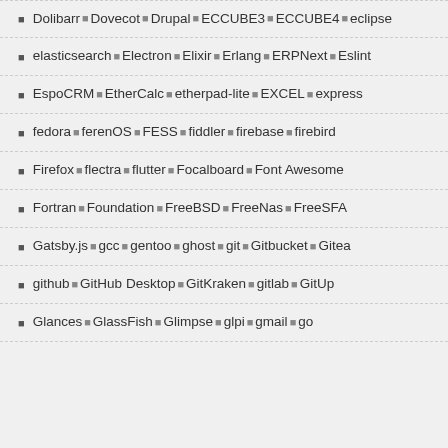Dolibarr · Dovecot · Drupal · ECCUBE3 · ECCUBE4 · eclipse
elasticsearch · Electron · Elixir · Erlang · ERPNext · Eslint
EspoCRM · EtherCalc · etherpad-lite · EXCEL · express
fedora · ferenOS · FESS · fiddler · firebase · firebird
Firefox · flectra · flutter · Focalboard · Font Awesome
Fortran · Foundation · FreeBSD · FreeNas · FreeSFA
Gatsby.js · gcc · gentoo · ghost · git · Gitbucket · Gitea
github · GitHub Desktop · GitKraken · gitlab · GitUp
Glances · GlassFish · Glimpse · glpi · gmail · go